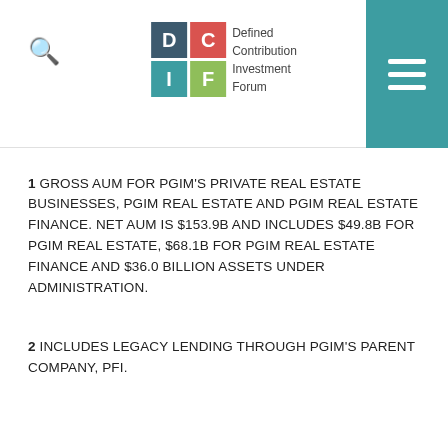[Figure (logo): DCIF - Defined Contribution Investment Forum logo with colored letter tiles (D=dark blue, C=red, I=teal, F=green) and hamburger menu button on teal background]
1 GROSS AUM FOR PGIM'S PRIVATE REAL ESTATE BUSINESSES, PGIM REAL ESTATE AND PGIM REAL ESTATE FINANCE. NET AUM IS $153.9B AND INCLUDES $49.8B FOR PGIM REAL ESTATE, $68.1B FOR PGIM REAL ESTATE FINANCE AND $36.0 BILLION ASSETS UNDER ADMINISTRATION.
2 INCLUDES LEGACY LENDING THROUGH PGIM'S PARENT COMPANY, PFI.
https://www.pgim.com/real-estate/